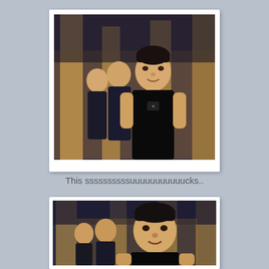[Figure (photo): Three Asian men in dark athletic wear standing in front of illuminated columns; the man in the foreground is the most prominent, mouth slightly open, wearing a black sleeveless vest.]
This ssssssssssuuuuuuuuuuucks..
[Figure (photo): Same scene as above, cropped more tightly — three Asian men in dark athletic wear in front of golden-lit columns; the man in the foreground appears to be smiling or reacting.]